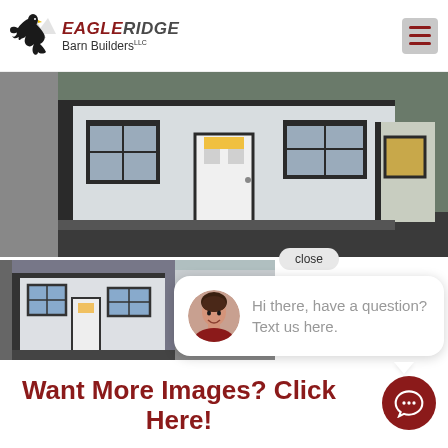[Figure (logo): Eagle Ridge Barn Builders LLC logo with eagle silhouette and mountain peaks]
[Figure (photo): White portable storage building/shed with dark trim, windows and door, on gravel lot]
[Figure (photo): Thumbnail of white shed building with dark trim and windows]
[Figure (photo): Thumbnail of another building]
close
Hi there, have a question? Text us here.
Want More Images? Click Here!